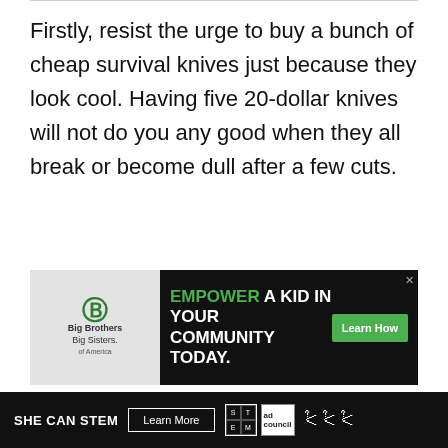Firstly, resist the urge to buy a bunch of cheap survival knives just because they look cool. Having five 20-dollar knives will not do you any good when they all break or become dull after a few cuts.
[Figure (other): Advertisement banner: Big Brothers Big Sisters logo on left with dark background, right side shows black background with green text 'EMPOWER A KID IN YOUR COMMUNITY TODAY.' and a green 'Learn How' button]
SHE CAN STEM  Learn More  [STEM grid logo] [Ad Council logo] [Weather Channel logo]